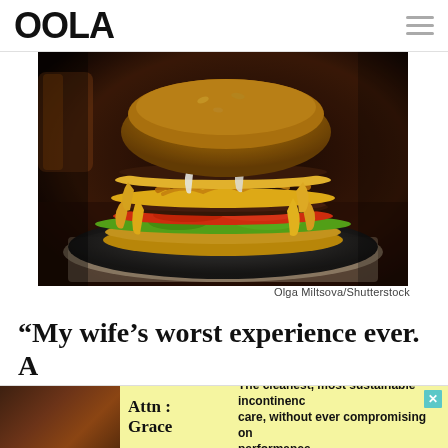OOLA
[Figure (photo): A large double cheeseburger with melted cheese, caramelized onions, lettuce, and tomato on a black plate on a linen napkin, dark wood background]
Olga Miltsova/Shutterstock
“My wife’s worst experience ever. A
ti...d it...f d...b...d...b...if...d
[Figure (advertisement): Ad banner: left shows a person image, middle shows yellow background with 'Attn: Grace', right shows yellow background with text 'The cleanest, most sustainable incontinence care, without ever compromising on performance.']